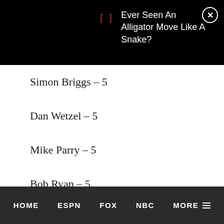[Figure (other): Black banner ad with red bracket icon and text 'Ever Seen An Alligator Move Like A Snake?' with close button]
Simon Briggs – 5
Dan Wetzel – 5
Mike Parry – 5
Bob Ryan – 5
Robert Reed – 5
Rick Morrissey – 5
Pete Dougherty – 5
Dan Le Batard – 5
Marcus Hayes – 5
HOME   ESPN   FOX   NBC   MORE